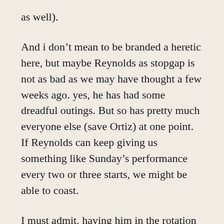as well).
And i don’t mean to be branded a heretic here, but maybe Reynolds as stopgap is not as bad as we may have thought a few weeks ago. yes, he has had some dreadful outings. But so has pretty much everyone else (save Ortiz) at one point. If Reynolds can keep giving us something like Sunday’s performance every two or three starts, we might be able to coast.
I must admit, having him in the rotation was looking dumb a week and a half ago. But that was when we were skidding and the Phillies were within 4.5 games. As long as the Braves dont go on any huge losing streaks, having